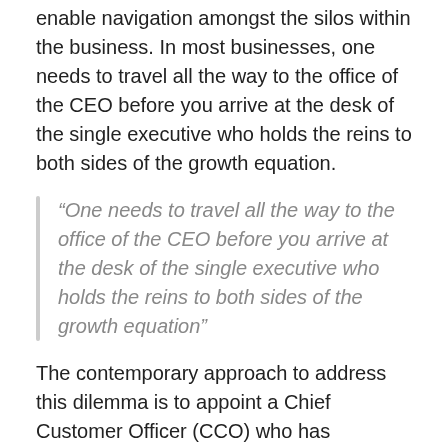enable navigation amongst the silos within the business. In most businesses, one needs to travel all the way to the office of the CEO before you arrive at the desk of the single executive who holds the reins to both sides of the growth equation.
“One needs to travel all the way to the office of the CEO before you arrive at the desk of the single executive who holds the reins to both sides of the growth equation”
The contemporary approach to address this dilemma is to appoint a Chief Customer Officer (CCO) who has oversight of both operations and marketing. Trouble is, finding suitable candidates is challenging. Rarely can you identify a candidate who in their career, has taken an operational pathway and additionally, has marketing and brand management experience. On that front, almost always, the appointment of the CCO is a compromise and requires on-